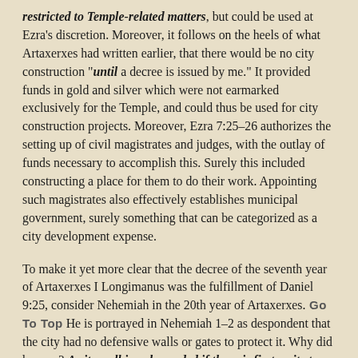restricted to Temple-related matters, but could be used at Ezra's discretion. Moreover, it follows on the heels of what Artaxerxes had written earlier, that there would be no city construction "until a decree is issued by me." It provided funds in gold and silver which were not earmarked exclusively for the Temple, and could thus be used for city construction projects. Moreover, Ezra 7:25–26 authorizes the setting up of civil magistrates and judges, with the outlay of funds necessary to accomplish this. Surely this included constructing a place for them to do their work. Appointing such magistrates also effectively establishes municipal government, surely something that can be categorized as a city development expense.
To make it yet more clear that the decree of the seventh year of Artaxerxes I Longimanus was the fulfillment of Daniel 9:25, consider Nehemiah in the 20th year of Artaxerxes. He is portrayed in Nehemiah 1–2 as despondent that the city had no defensive walls or gates to protect it. Why did he care? A city wall is only needed if there is first a city to protect. In Nehemiah 1:2 he asks his brother Hanani not about the Temple, but about the city of Jerusalem. This